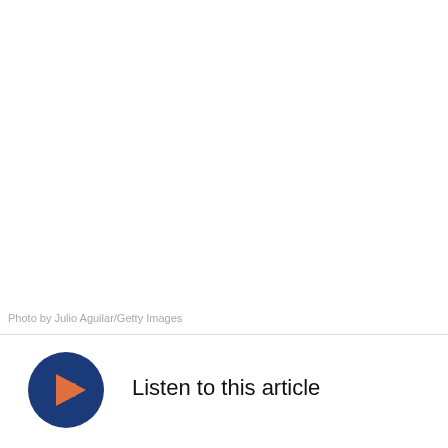[Figure (photo): White/blank photo area at top of page]
Photo by Julio Aguilar/Getty Images
[Figure (illustration): Dark blue circular play button with orange audio waveform/play icon]
Listen to this article